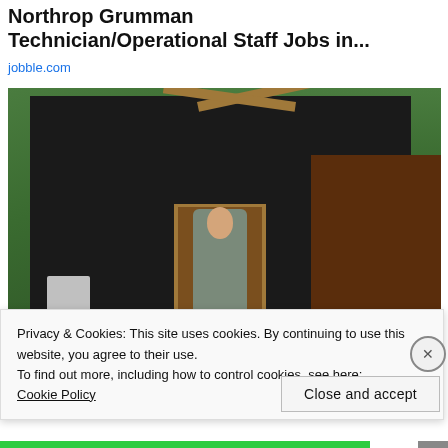Northrop Grumman Technician/Operational Staff Jobs in...
jobble.com
[Figure (photo): A child standing in the doorway of a backyard shed covered in black tarpaulin, with wooden beam framing at the top. Green foliage visible on the left, a wooden fence on the right, and a white chair in the lower left.]
Privacy & Cookies: This site uses cookies. By continuing to use this website, you agree to their use.
To find out more, including how to control cookies, see here: Cookie Policy
Close and accept